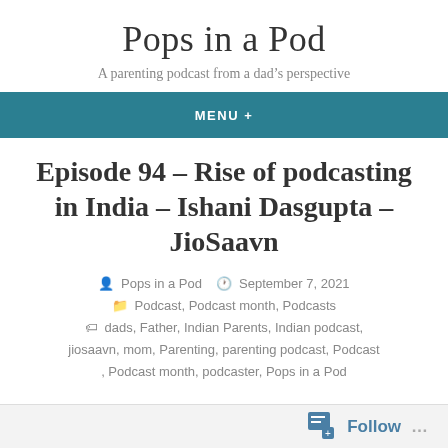Pops in a Pod
A parenting podcast from a dad's perspective
MENU +
Episode 94 – Rise of podcasting in India – Ishani Dasgupta – JioSaavn
Pops in a Pod  September 7, 2021  Podcast, Podcast month, Podcasts  dads, Father, Indian Parents, Indian podcast, jiosaavn, mom, Parenting, parenting podcast, Podcast, Podcast month, podcaster, Pops in a Pod
Follow ...